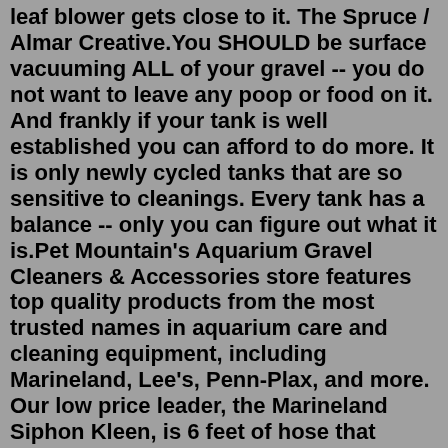leaf blower gets close to it. The Spruce / Almar Creative.You SHOULD be surface vacuuming ALL of your gravel -- you do not want to leave any poop or food on it. And frankly if your tank is well established you can afford to do more. It is only newly cycled tanks that are so sensitive to cleanings. Every tank has a balance -- only you can figure out what it is.Pet Mountain's Aquarium Gravel Cleaners & Accessories store features top quality products from the most trusted names in aquarium care and cleaning equipment, including Marineland, Lee's, Penn-Plax, and more. Our low price leader, the Marineland Siphon Kleen, is 6 feet of hose that helps to remove accumulated waste in your fish tank, leaving ...The Python No Spill Tidy as well as Fill Up System is an exceptional worth for cash item as well as is among the Best Aquarium Vacuum Gravel Cleaner systems we discovered.. Customers like the truth that the fish tank hoover is so simple to utilize and also offers you with an extremely charitable series of 25 to 100 feet and also can be found in 4 various dimensions.Mar